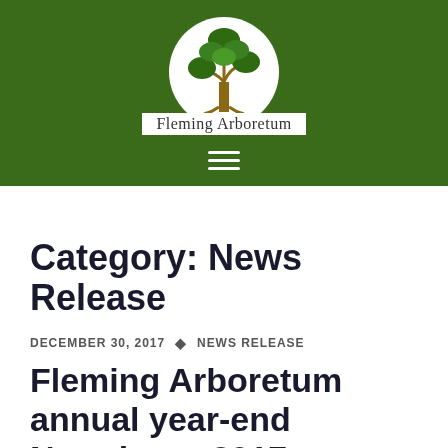[Figure (logo): Fleming Arboretum logo: a tree illustration inside a white circle on a dark green background, with the text 'Fleming Arboretum' below it]
Category: News Release
DECEMBER 30, 2017 · NEWS RELEASE
Fleming Arboretum annual year-end Newsletter 2017